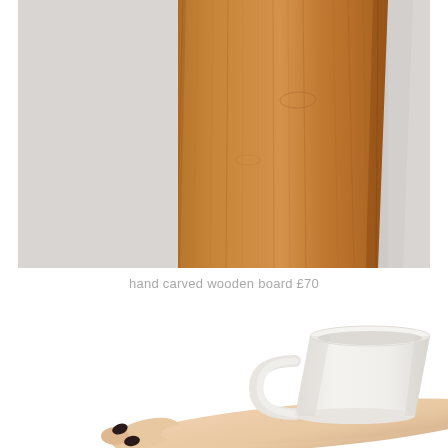[Figure (photo): Close-up product photo of a hand carved wooden board (oak/walnut) leaning against a light grey wall. The board is trapezoidal/rectangular shape with visible wood grain texture in warm brown tones. Shot against a light grey background.]
hand carved wooden board £70
[Figure (photo): Product photo of a small white ceramic mug with a flared conical shape and a small handle, being held up on an open palm of a hand with dark nail polish, against a white background.]